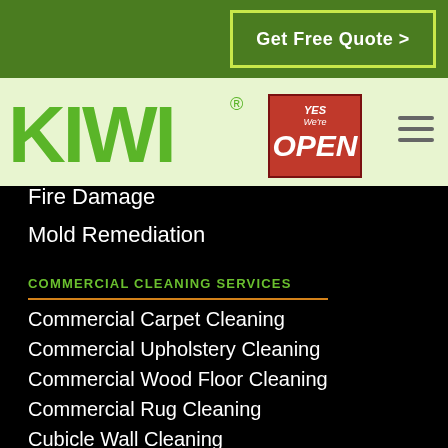Get Free Quote >
[Figure (logo): KIWI green brand logo with registered trademark symbol]
[Figure (illustration): YES We're OPEN badge in red]
Fire Damage
Mold Remediation
COMMERCIAL CLEANING SERVICES
Commercial Carpet Cleaning
Commercial Upholstery Cleaning
Commercial Wood Floor Cleaning
Commercial Rug Cleaning
Cubicle Wall Cleaning
Commercial Tile and Grout Cleaning